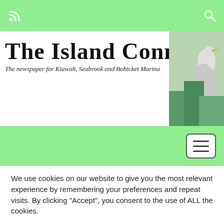The Island Connection - The newspaper for Kiawah, Seabrook and Bohicket Marina
[Figure (screenshot): Website header screenshot of The Island Connection newspaper with green navigation bars, masthead with heron illustration, and a black-and-white turtle photo banner]
We use cookies on our website to give you the most relevant experience by remembering your preferences and repeat visits. By clicking "Accept", you consent to the use of ALL the cookies.
Cookie settings  ACCEPT